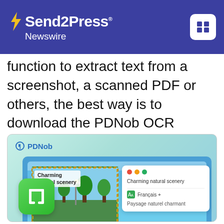Send2Press Newswire
function to extract text from a screenshot, a scanned PDF or others, the best way is to download the PDNob OCR scanner on PCs.
[Figure (screenshot): PDNob application screenshot showing OCR and translation feature. Displays a nature scene with 'Charming natural scenery' text being extracted and translated to French ('Paysage naturel charmant') via Français option. Green app icon with 'T' symbol in lower left.]